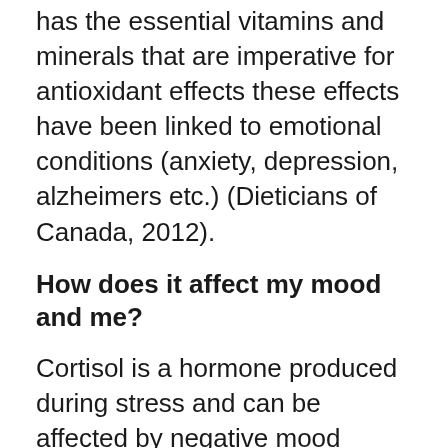has the essential vitamins and minerals that are imperative for antioxidant effects these effects have been linked to emotional conditions (anxiety, depression, alzheimers etc.) (Dieticians of Canada, 2012).
How does it affect my mood and me?
Cortisol is a hormone produced during stress and can be affected by negative mood states, fatigue and “burnout.” Therefore, psychological factors associated with food intake (i.e. not eating/ lack of appetite) may alter cortisol secretion and mental function. Having a balanced diet is important for maintaining brain function and the release of important neurotransmitters. Ie. Serotonin – from carbohydrates to trigger the